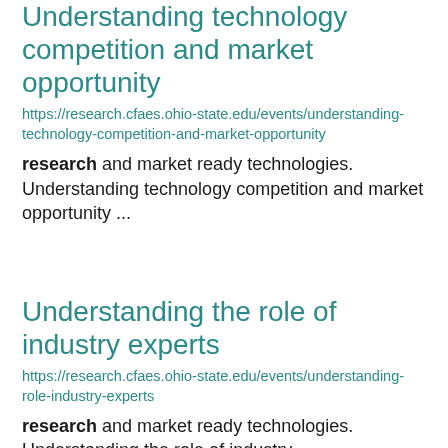Understanding technology competition and market opportunity
https://research.cfaes.ohio-state.edu/events/understanding-technology-competition-and-market-opportunity
research and market ready technologies. Understanding technology competition and market opportunity ...
Understanding the role of industry experts
https://research.cfaes.ohio-state.edu/events/understanding-role-industry-experts
research and market ready technologies. Understanding the role of industry ...